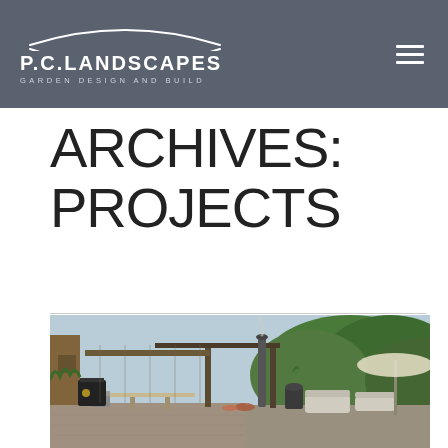P.C.LANDSCAPES GARDEN DESIGN AND BUILD
ARCHIVES: PROJECTS
[Figure (photo): Outdoor garden terrace with modern patio furniture, a tall outdoor heater/smoker, wooden pergola structure, lush green trees, patio umbrella, and seating area with plantings in a designed garden.]